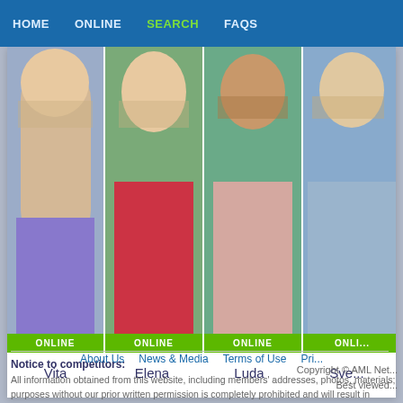HOME  ONLINE  SEARCH  FAQS
[Figure (photo): Profile photo of Vita, blonde woman in purple top, with ONLINE badge]
[Figure (photo): Profile photo of Elena, blonde woman in red dress, with ONLINE badge]
[Figure (photo): Profile photo of Luda, brunette woman in pink top, with ONLINE badge]
[Figure (photo): Partial profile photo of Sve..., blonde woman in blue outfit, with ONLI... badge]
Vita
Elena
Luda
Sve...
Notice to competitors:
All information obtained from this website, including members' addresses, photos, materials; purposes without our prior written permission is completely prohibited and will result in prose...
About Us   News & Media   Terms of Use   Pri...
Copyright © AML Net... Best viewed...